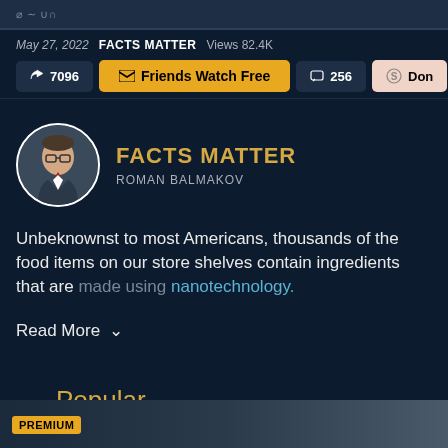May 27, 2022  FACTS MATTER  Views 82.4K
7096  Friends Watch Free  256  Don
[Figure (photo): Circular avatar photo of Roman Balmakov, a man with glasses wearing a suit and tie]
FACTS MATTER
ROMAN BALMAKOV
Unbeknownst to most Americans, thousands of the food items on our store shelves contain ingredients that are made using nanotechnology.
Read More
Popular
PREMIUM